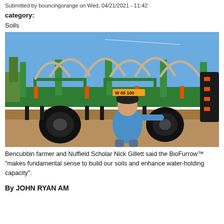Submitted by bouncingorange on Wed, 04/21/2021 - 11:42
category:
Soils
[Figure (photo): A man in a blue t-shirt and cap crouches in front of a large green agricultural seeding machine (BioFurrow) with multiple hoses and attachments, outdoors under a blue sky.]
Bencubbin farmer and Nuffield Scholar Nick Gillett said the BioFurrow™ "makes fundamental sense to build our soils and enhance water-holding capacity".
By JOHN RYAN AM